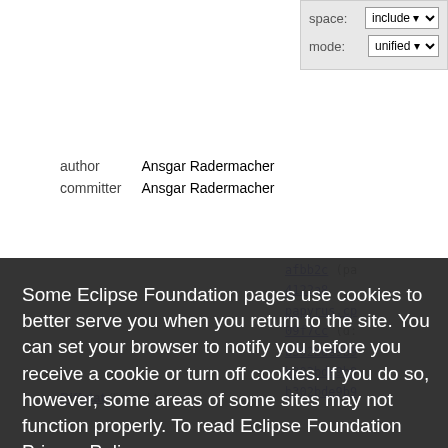[Figure (screenshot): Partial screenshot of Eclipse Foundation git/diff page showing form controls for 'space' (include dropdown) and 'mode' (unified dropdown)]
| author | Ansgar Radermacher |
| committer | Ansgar Radermacher |
Some Eclipse Foundation pages use cookies to better serve you when you return to the site. You can set your browser to notify you before you receive a cookie or turn off cookies. If you do so, however, some areas of some sites may not function properly. To read Eclipse Foundation Privacy Policy
click here.
Decline
Allow cookies